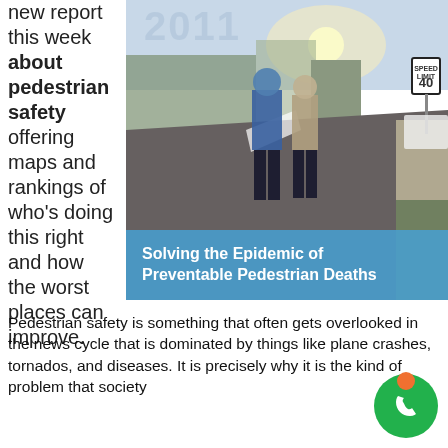new report this week about pedestrian safety offering maps and rankings of who's doing this right and how the worst places can improve.
[Figure (photo): Two people standing at the side of a road viewed from behind, with a speed limit 40 sign visible and the year '2011' overlaid, along with a blue banner reading 'Solving the Epidemic of Preventable Pedestrian Deaths']
Pedestrian safety is something that often gets overlooked in the news cycle that is dominated by things like plane crashes, tornados, and diseases. It is precisely why it is the kind of problem that society